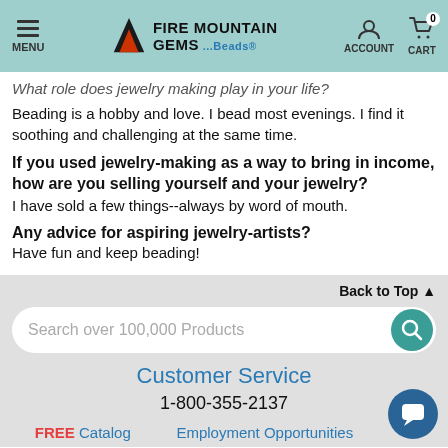MENU | FIRE MOUNTAIN GEMS ...and Beads® | ACCOUNT | CART 0
What role does jewelry making play in your life? Beading is a hobby and love. I bead most evenings. I find it soothing and challenging at the same time.
If you used jewelry-making as a way to bring in income, how are you selling yourself and your jewelry? I have sold a few things--always by word of mouth.
Any advice for aspiring jewelry-artists? Have fun and keep beading!
Back to Top ▲
Search over 100,000 Products
Customer Service
1-800-355-2137
FREE Catalog   Employment Opportunities